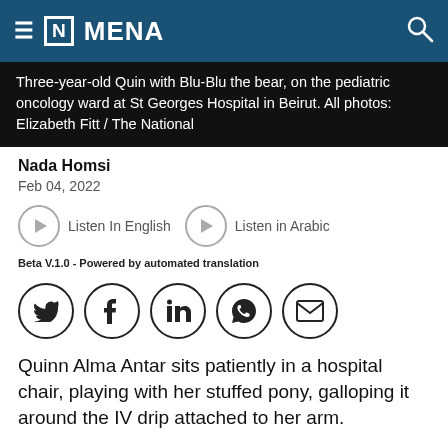[N] MENA
Three-year-old Quin with Blu-Blu the bear, on the pediatric oncology ward at St Georges Hospital in Beirut. All photos: Elizabeth Fitt / The National
Nada Homsi
Feb 04, 2022
Listen In English   Listen in Arabic
Beta V.1.0 - Powered by automated translation
[Figure (other): Social sharing icons row: Twitter, Facebook, LinkedIn, WhatsApp, Email]
Quinn Alma Antar sits patiently in a hospital chair, playing with her stuffed pony, galloping it around the IV drip attached to her arm.